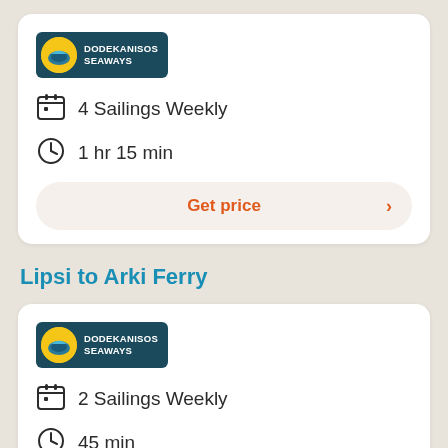[Figure (logo): Dodekanisos Seaways logo — dark teal rectangle with yellow circle icon and white text]
4 Sailings Weekly
1 hr 15 min
Get price
Lipsi to Arki Ferry
[Figure (logo): Dodekanisos Seaways logo — dark teal rectangle with yellow circle icon and white text]
2 Sailings Weekly
45 min
Get price